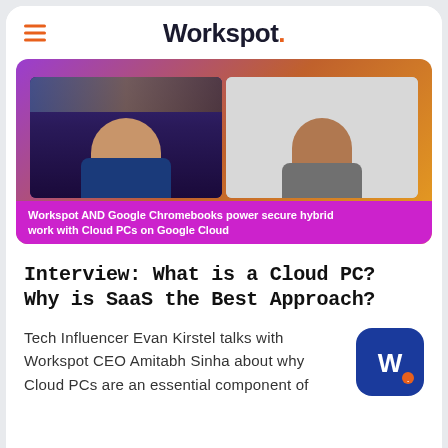Workspot.
[Figure (screenshot): Video thumbnail showing two people in a video call. Left person is a heavyset man with short hair in a dark blue shirt, with artwork on the wall behind him. Right person is a man with gray hair and glasses in a gray shirt. A purple banner at the bottom reads: Workspot AND Google Chromebooks power secure hybrid work with Cloud PCs on Google Cloud]
Interview: What is a Cloud PC? Why is SaaS the Best Approach?
Tech Influencer Evan Kirstel talks with Workspot CEO Amitabh Sinha about why Cloud PCs are an essential component of